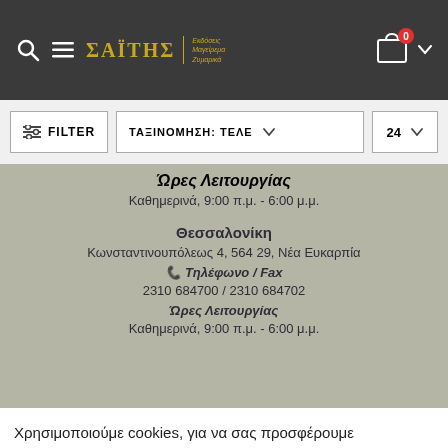ΣΑΪΤΗΣ — e-shop header with search, menu, logo, cart (0)
FILTER | ΤΑΞΙΝΟΜΗΣΗ: ΤΕΛΕ ∨ | 24 ∨
Ώρες Λειτουργίας
Καθημερινά, 9:00 π.μ. - 6:00 μ.μ.
Θεσσαλονίκη
Κωνσταντινουπόλεως 4, 564 29, Νέα Ευκαρπία
📞 Τηλέφωνο / Fax
2310 684700 / 2310 684702
Ώρες Λειτουργίας
Καθημερινά, 9:00 π.μ. - 6:00 μ.μ.
Χρησιμοποιούμε cookies, για να σας προσφέρουμε προσωποποιημένη εμπειρία περιήγησης.
Επιλογές | Αποδοχή Όλων